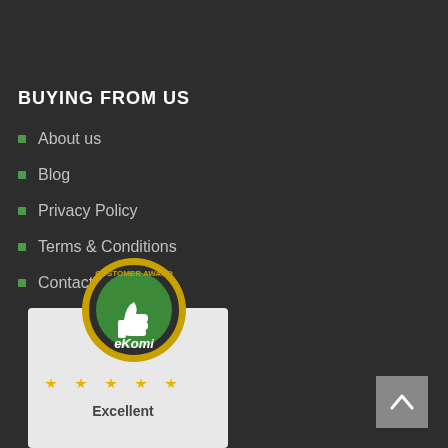BUYING FROM US
About us
Blog
Privacy Policy
Terms & Conditions
Contact Us
[Figure (logo): eKomi Customer Award badge with thumbs up icon and gold star rating, showing Excellent rating]
[Figure (other): Back to top button with upward arrow chevron]